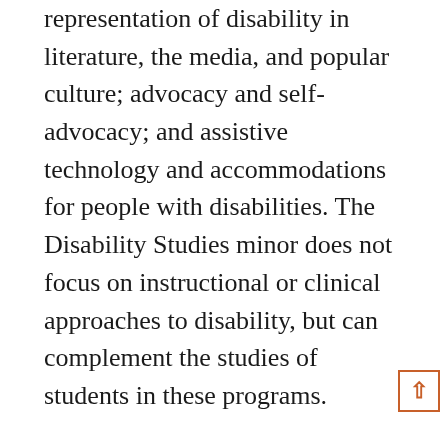representation of disability in literature, the media, and popular culture; advocacy and self-advocacy; and assistive technology and accommodations for people with disabilities. The Disability Studies minor does not focus on instructional or clinical approaches to disability, but can complement the studies of students in these programs.
The minor requires 18 credits, with 12 credits in Disability Studies (DSP prefix) courses and 6 credits of approved electives. At least 12 credits must be taken in 300 level or above courses, and a minimum of 15 credits must be taken through